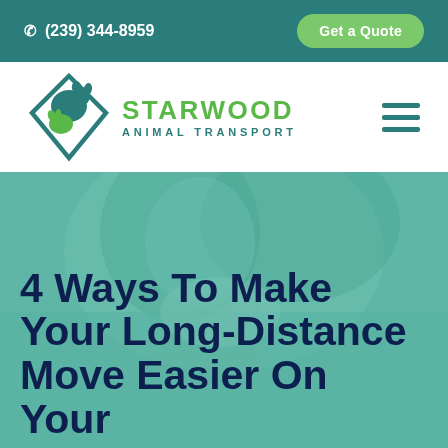(239) 344-8959  Get a Quote
[Figure (logo): Starwood Animal Transport logo — diamond shape with dog and cat silhouettes, green and teal colors, with company name STARWOOD ANIMAL TRANSPORT]
4 Ways To Make Your Long-Distance Move Easier On Your